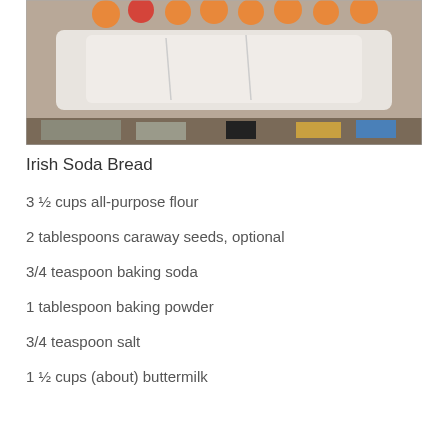[Figure (photo): Photo of oranges/peaches and a white cloth/fabric item on a surface with various objects below]
Irish Soda Bread
3 ½ cups all-purpose flour
2 tablespoons caraway seeds, optional
3/4 teaspoon baking soda
1 tablespoon baking powder
3/4 teaspoon salt
1 ½ cups (about) buttermilk